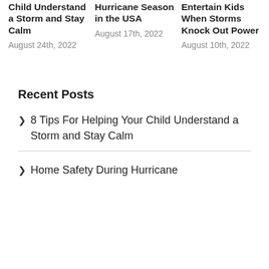Child Understand a Storm and Stay Calm
August 24th, 2022
Hurricane Season in the USA
August 17th, 2022
Entertain Kids When Storms Knock Out Power
August 10th, 2022
Recent Posts
8 Tips For Helping Your Child Understand a Storm and Stay Calm
Home Safety During Hurricane